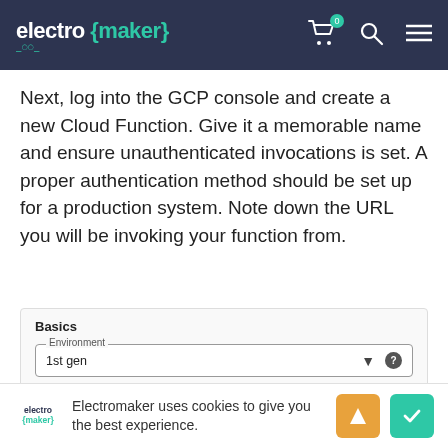electro {maker}
Next, log into the GCP console and create a new Cloud Function. Give it a memorable name and ensure unauthenticated invocations is set. A proper authentication method should be set up for a production system. Note down the URL you will be invoking your function from.
[Figure (screenshot): GCP Cloud Function creation UI showing Basics section with Environment dropdown set to '1st gen' and Function name field partially visible]
Electromaker uses cookies to give you the best experience.